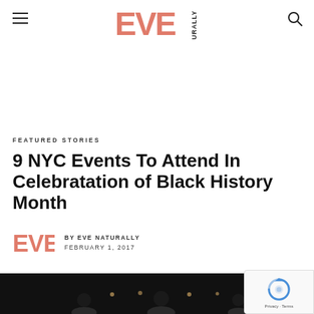EVE NATURALLY — navigation header with hamburger menu and search icon
FEATURED STORIES
9 NYC Events To Attend In Celebratation of Black History Month
BY EVE NATURALLY
FEBRUARY 1, 2017
[Figure (photo): Dark photograph showing people at an event with candles or lights, partially visible at the bottom of the page]
[Figure (logo): reCAPTCHA badge with circular arrow logo and Privacy/Terms text]